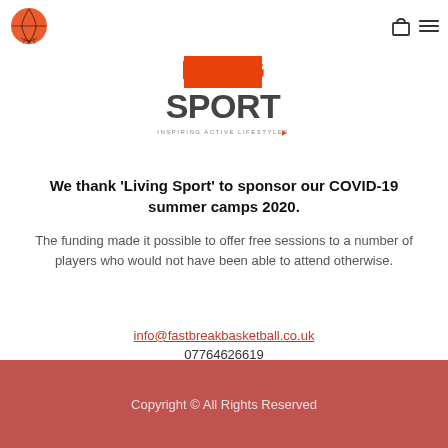[Figure (logo): Fastbreak Basketball logo — orange basketball with net graphic, small text 'Fastbreak Basketball']
[Figure (logo): Living Sport logo — 'LIVING' in orange bold, 'SPORT' in dark gray bold, tagline 'INSPIRING ACTIVE LIFESTYLES' below]
We thank 'Living Sport' to sponsor our COVID-19 summer camps 2020.
The funding made it possible to offer free sessions to a number of players who would not have been able to attend otherwise.
info@fastbreakbasketball.co.uk
07764626619
Copyright © All Rights Reserved